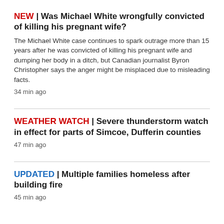NEW | Was Michael White wrongfully convicted of killing his pregnant wife?
The Michael White case continues to spark outrage more than 15 years after he was convicted of killing his pregnant wife and dumping her body in a ditch, but Canadian journalist Byron Christopher says the anger might be misplaced due to misleading facts.
34 min ago
WEATHER WATCH | Severe thunderstorm watch in effect for parts of Simcoe, Dufferin counties
47 min ago
UPDATED | Multiple families homeless after building fire
45 min ago